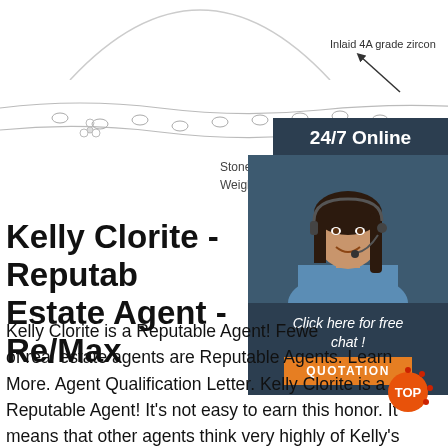[Figure (photo): Jewelry necklace with zircon stones and chain, product photo with annotation arrow pointing to 'Inlaid 4A grade zircon']
Inlaid 4A grade zircon
Stone: zirconium drill with
Weight: Approximately 2.1
[Figure (photo): 24/7 Online chat widget with woman wearing headset, 'Click here for free chat!' text and QUOTATION button]
Kelly Clorite - Reputable Estate Agent - Re/Max
Kelly Clorite is a Reputable Agent! Fewer of real estate agents are Reputable Agents. Learn More. Agent Qualification Letter. Kelly Clorite is a Reputable Agent! It's not easy to earn this honor. It means that other agents think very highly of Kelly's work. Learn More. Agent Qualification Letter.